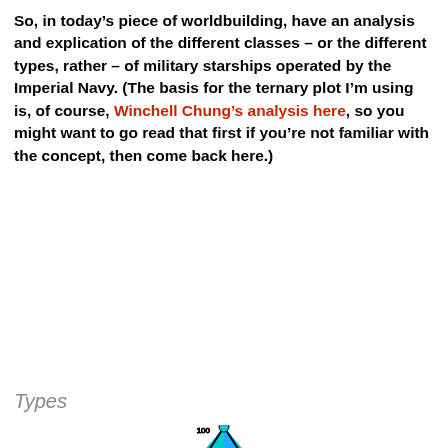So, in today's piece of worldbuilding, have an analysis and explication of the different classes – or the different types, rather – of military starships operated by the Imperial Navy. (The basis for the ternary plot I'm using is, of course, Winchell Chung's analysis here, so you might want to go read that first if you're not familiar with the concept, then come back here.)
Types
[Figure (other): A ternary plot showing different classes of military starships. The triangle has three axes: PROPULSION (left side), WEAPONS (right side), and a bottom axis. The triangle is divided into colored regions labeled: o (cyan/teal, top), A (blue, upper right), D,F (blue, center right), sf (green, center left), C (white/light, center bottom), pd (yellow-green, lower left), with orange and magenta sections at the bottom. The apex is marked 100 with a cyan dot, and the axes have tick marks at 20, 30, 40, 50, 60, 70, 80, 90, 100.]